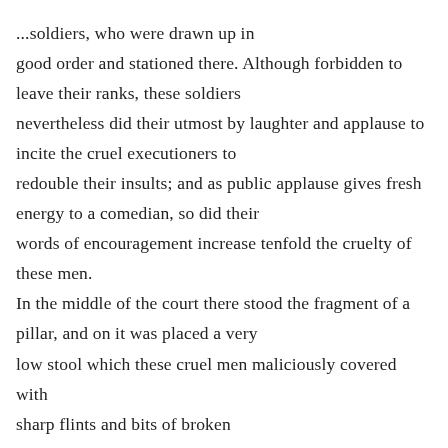soldiers, who were drawn up in good order and stationed there. Although forbidden to leave their ranks, these soldiers nevertheless did their utmost by laughter and applause to incite the cruel executioners to redouble their insults; and as public applause gives fresh energy to a comedian, so did their words of encouragement increase tenfold the cruelty of these men. In the middle of the court there stood the fragment of a pillar, and on it was placed a very low stool which these cruel men maliciously covered with sharp flints and bits of broken potsherds. Then they tore off the garments of Jesus, thereby reopening all his wounds; threw over his shoulders an old scarlet mantle which barely